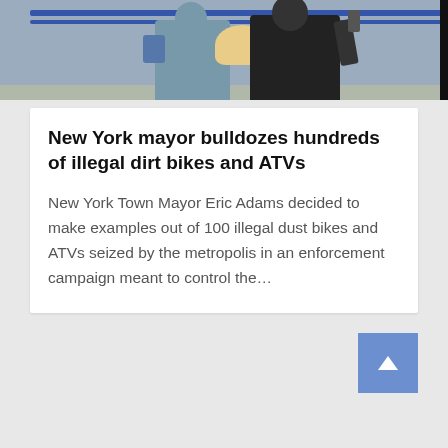[Figure (photo): Outdoor photo showing people standing near a blue rope/barrier fence, viewed from behind. A person with a bag wearing blue/grey clothing and a person in dark clothing holding up a phone are visible, along with a blonde person.]
New York mayor bulldozes hundreds of illegal dirt bikes and ATVs
New York Town Mayor Eric Adams decided to make examples out of 100 illegal dust bikes and ATVs seized by the metropolis in an enforcement campaign meant to control the…